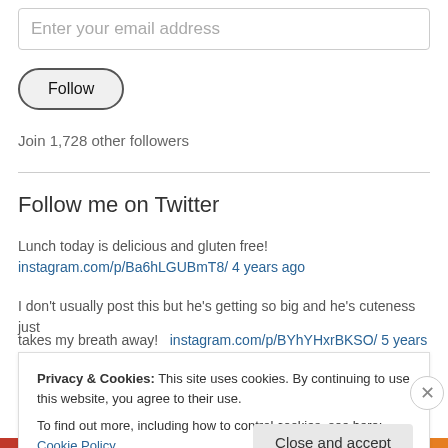Enter your email address
Follow
Join 1,728 other followers
Follow me on Twitter
Lunch today is delicious and gluten free!
instagram.com/p/Ba6hLGUBmT8/ 4 years ago
I don't usually post this but he's getting so big and he's cuteness just takes my breath away!
instagram.com/p/BYhYHxrBKSO/ 5 years ago
Privacy & Cookies: This site uses cookies. By continuing to use this website, you agree to their use.
To find out more, including how to control cookies, see here: Cookie Policy
Close and accept